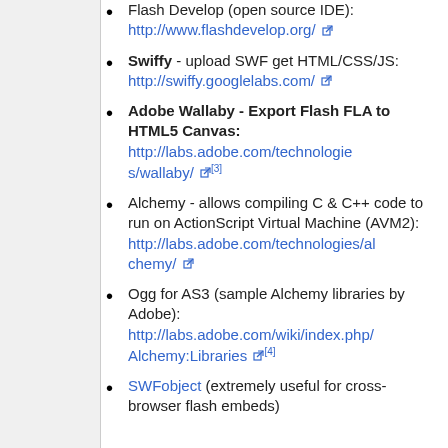Flash Develop (open source IDE): http://www.flashdevelop.org/
Swiffy - upload SWF get HTML/CSS/JS: http://swiffy.googlelabs.com/
Adobe Wallaby - Export Flash FLA to HTML5 Canvas: http://labs.adobe.com/technologies/wallaby/ [3]
Alchemy - allows compiling C & C++ code to run on ActionScript Virtual Machine (AVM2): http://labs.adobe.com/technologies/alchemy/
Ogg for AS3 (sample Alchemy libraries by Adobe): http://labs.adobe.com/wiki/index.php/Alchemy:Libraries [4]
SWFobject (extremely useful for cross-browser flash embeds)